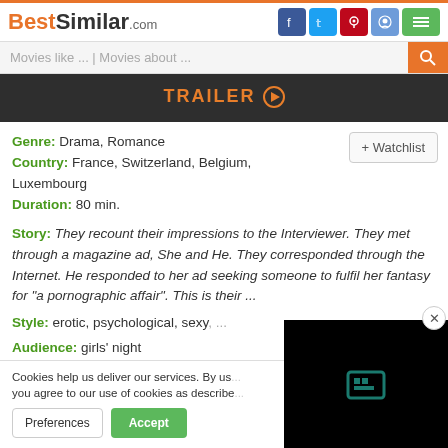BestSimilar.com
Movies like ... | Movies about ...
TRAILER ▶
Genre: Drama, Romance
Country: France, Switzerland, Belgium, Luxembourg
Duration: 80 min.
+ Watchlist
Story: They recount their impressions to the Interviewer. They met through a magazine ad, She and He. They corresponded through the Internet. He responded to her ad seeking someone to fulfil her fantasy for "a pornographic affair". This is their ...
Style: erotic, psychological, sexy, ...
Audience: girls' night
Cookies help us deliver our services. By us... you agree to our use of cookies as describe...